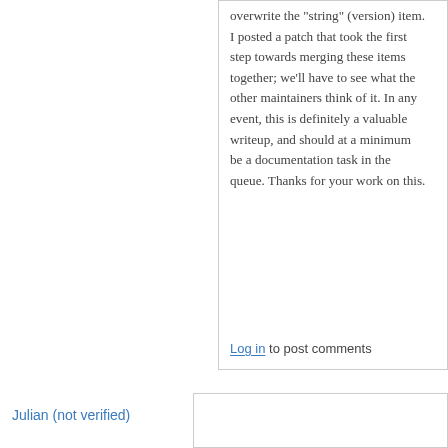overwrite the "string" (version) item. I posted a patch that took the first step towards merging these items together; we'll have to see what the other maintainers think of it. In any event, this is definitely a valuable writeup, and should at a minimum be a documentation task in the queue. Thanks for your work on this.
Log in to post comments
Julian (not verified)